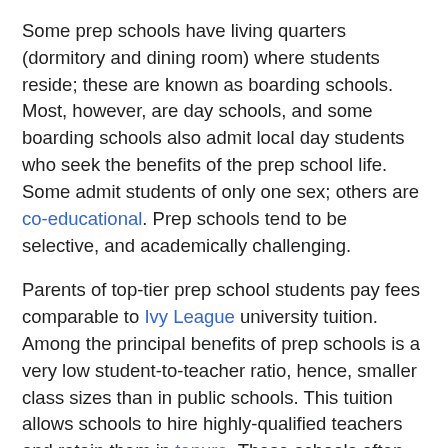Some prep schools have living quarters (dormitory and dining room) where students reside; these are known as boarding schools. Most, however, are day schools, and some boarding schools also admit local day students who seek the benefits of the prep school life. Some admit students of only one sex; others are co-educational. Prep schools tend to be selective, and academically challenging.
Parents of top-tier prep school students pay fees comparable to Ivy League university tuition. Among the principal benefits of prep schools is a very low student-to-teacher ratio, hence, smaller class sizes than in public schools. This tuition allows schools to hire highly-qualified teachers and retain them in tenure. These schools often have significant endowments financing scholarships permitting demographic heterogeneity.
Curriculum